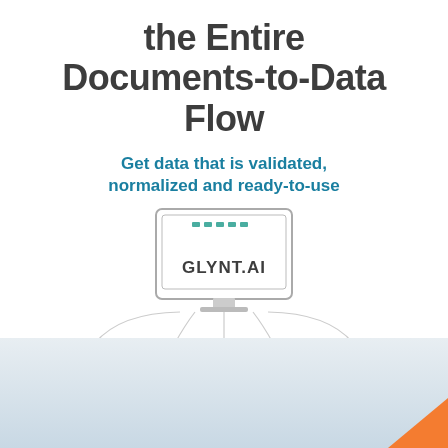the Entire Documents-to-Data Flow
Get data that is validated, normalized and ready-to-use
[Figure (flowchart): Flowchart showing GLYNT.AI monitor icon at the top center, with five steps below connected by lines: Extract (Highly accurate data from the start), Validate (Automated tools. Flag exceptions), Untangle (Normalizes varied document layouts), Enrich (Increase the value of your data), Transform (Simple integrations into your destinations)]